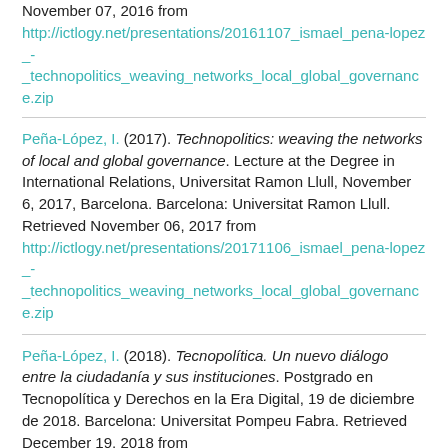November 07, 2016 from http://ictlogy.net/presentations/20161107_ismael_pena-lopez_-_technopolitics_weaving_networks_local_global_governance.zip
Peña-López, I. (2017). Technopolitics: weaving the networks of local and global governance. Lecture at the Degree in International Relations, Universitat Ramon Llull, November 6, 2017, Barcelona. Barcelona: Universitat Ramon Llull. Retrieved November 06, 2017 from http://ictlogy.net/presentations/20171106_ismael_pena-lopez_-_technopolitics_weaving_networks_local_global_governance.zip
Peña-López, I. (2018). Tecnopolítica. Un nuevo diálogo entre la ciudadanía y sus instituciones. Postgrado en Tecnopolítica y Derechos en la Era Digital, 19 de diciembre de 2018. Barcelona: Universitat Pompeu Fabra. Retrieved December 19, 2018 from http://ictlogy.net/presentations/20181219_ismael_pena-lopez_-_tecnopolitica_dialogo_ciudadania_instituciones.zip
Peña-López, I. (2015). Tecnopolítica: la democràcia serà tecnològica i participativa o no serà?. Taula rodona al cicle "Les...